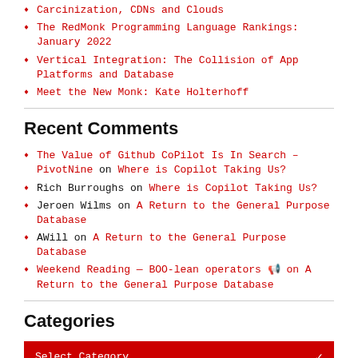Carcinization, CDNs and Clouds
The RedMonk Programming Language Rankings: January 2022
Vertical Integration: The Collision of App Platforms and Database
Meet the New Monk: Kate Holterhoff
Recent Comments
The Value of Github CoPilot Is In Search – PivotNine on Where is Copilot Taking Us?
Rich Burroughs on Where is Copilot Taking Us?
Jeroen Wilms on A Return to the General Purpose Database
AWill on A Return to the General Purpose Database
Weekend Reading — BOO-lean operators 🔢 on A Return to the General Purpose Database
Categories
Select Category